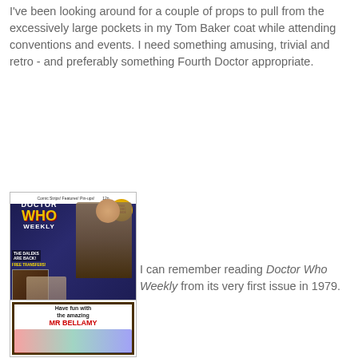I've been looking around for a couple of props to pull from the excessively large pockets in my Tom Baker coat while attending conventions and events. I need something amusing, trivial and retro - and preferably something Fourth Doctor appropriate.
[Figure (photo): Cover of Doctor Who Weekly magazine issue 1, featuring Tom Baker as the Fourth Doctor with a Dalek, on a star-field background. Text includes 'Comic Strips! Features! Pin-ups!', 'THE DALEKS ARE BACK!', 'FREE TRANSFERS!', 'PLUS TWO FULL COLOUR DR WHO PANORAMAS INSIDE', and a competition badge.]
I can remember reading Doctor Who Weekly from its very first issue in 1979.
[Figure (photo): Cartoon/comic panel showing 'Have fun with the amazing MR BELLAMY' text with illustrated characters.]